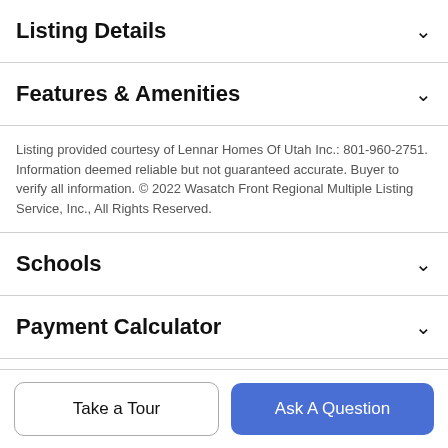Listing Details
Features & Amenities
Listing provided courtesy of Lennar Homes Of Utah Inc.: 801-960-2751. Information deemed reliable but not guaranteed accurate. Buyer to verify all information. © 2022 Wasatch Front Regional Multiple Listing Service, Inc., All Rights Reserved.
Schools
Payment Calculator
Contact Agent